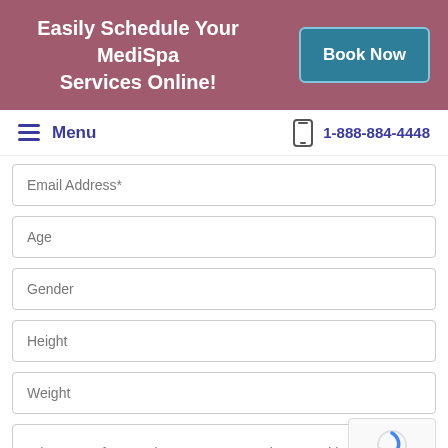[Figure (infographic): MediSpa promotional banner with 'Easily Schedule Your MediSpa Services Online!' text and 'Book Now' button]
Menu   1-888-884-4448
Email Address*
Age
Gender
Height
Weight
What type of cosmetic surgery are you interested in?*